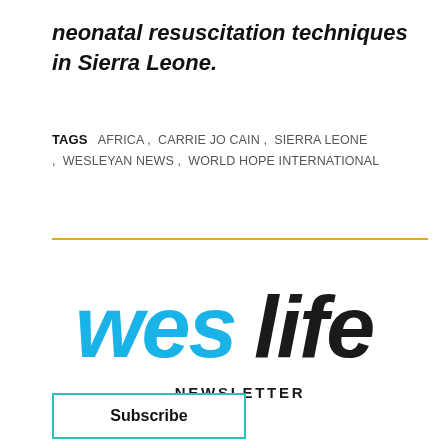neonatal resuscitation techniques in Sierra Leone.
TAGS   AFRICA ,   CARRIE JO CAIN ,   SIERRA LEONE ,   WESLEYAN NEWS ,   WORLD HOPE INTERNATIONAL
[Figure (logo): Weslife Newsletter logo — 'wes' in cyan/blue script font and 'life' in black bold font, with 'NEWSLETTER' in black spaced capitals below]
Subscribe